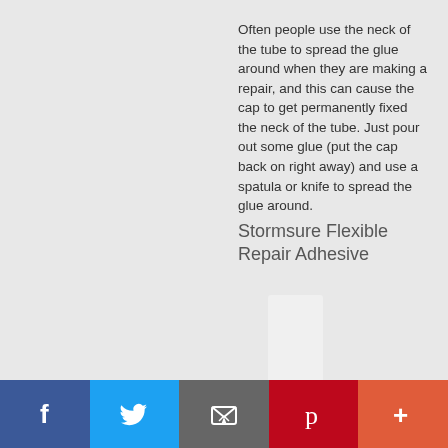Often people use the neck of the tube to spread the glue around when they are making a repair, and this can cause the cap to get permanently fixed the neck of the tube. Just pour out some glue (put the cap back on right away) and use a spatula or knife to spread the glue around.
Stormsure Flexible Repair Adhesive
[Figure (photo): Partial view of a white/light-colored product tube]
Facebook | Twitter | Email | Pinterest | More